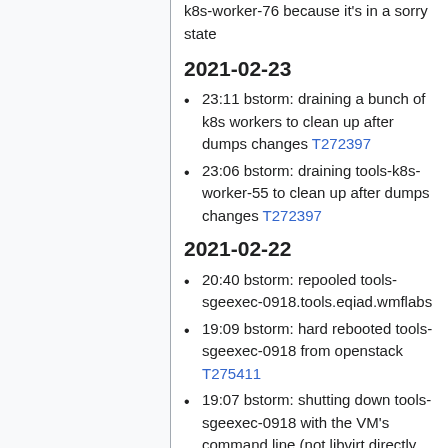k8s-worker-76 because it's in a sorry state
2021-02-23
23:11 bstorm: draining a bunch of k8s workers to clean up after dumps changes T272397
23:06 bstorm: draining tools-k8s-worker-55 to clean up after dumps changes T272397
2021-02-22
20:40 bstorm: repooled tools-sgeexec-0918.tools.eqiad.wmflabs
19:09 bstorm: hard rebooted tools-sgeexec-0918 from openstack T275411
19:07 bstorm: shutting down tools-sgeexec-0918 with the VM's command line (not libvirt directly yet)